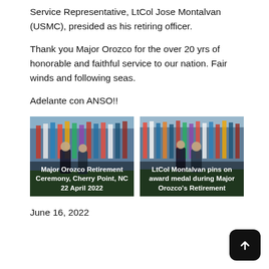Service Representative, LtCol Jose Montalvan (USMC), presided as his retiring officer.
Thank you Major Orozco for the over 20 yrs of honorable and faithful service to our nation. Fair winds and following seas.
Adelante con ANSO!!
[Figure (photo): Military retirement ceremony with flags in background, people in uniform. Caption: Major Orozco Retirement Ceremony, Cherry Point, NC 22 April 2022]
[Figure (photo): LtCol Montalvan pins award medal during ceremony with flags in background. Caption: LtCol Montalvan pins on award medal during Major Orozco's Retirement]
June 16, 2022